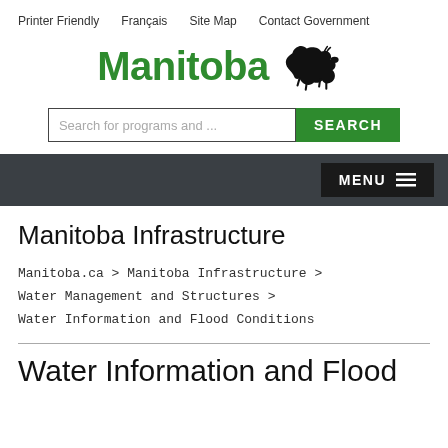Printer Friendly   Français   Site Map   Contact Government
[Figure (logo): Manitoba government logo with green 'Manitoba' text and black bison silhouette]
Search for programs and ...
Manitoba Infrastructure
Manitoba.ca > Manitoba Infrastructure > Water Management and Structures > Water Information and Flood Conditions
Water Information and Flood